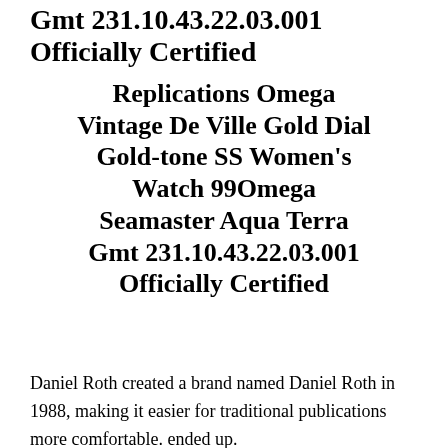Gmt 231.10.43.22.03.001 Officially Certified
Replications Omega Vintage De Ville Gold Dial Gold-tone SS Women's Watch 99Omega Seamaster Aqua Terra Gmt 231.10.43.22.03.001 Officially Certified
Daniel Roth created a brand named Daniel Roth in 1988, making it easier for traditional publications more comfortable. ended up.